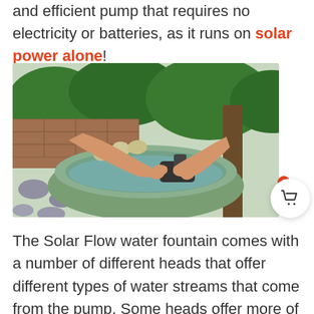and efficient pump that requires no electricity or batteries, as it runs on solar power alone!
[Figure (photo): Person's hands installing or adjusting a solar pump in a round stone/ceramic water fountain bowl, with garden greenery and stone wall in background]
The Solar Flow water fountain comes with a number of different heads that offer different types of water streams that come from the pump. Some heads offer more of a light shower, whereas others are a hard jet of